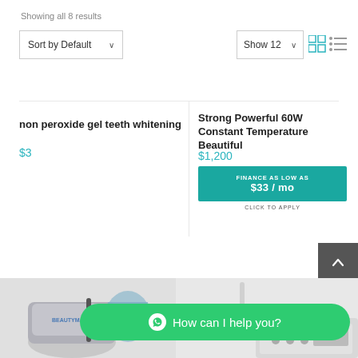Showing all 8 results
Sort by Default ∨
Show 12 ∨
non peroxide gel teeth whitening
$3
Strong Powerful 60W Constant Temperature Beautiful
$1,200
FINANCE AS LOW AS $33 / mo CLICK TO APPLY
[Figure (photo): Dental whitening product kit with silver bag and tray]
[Figure (photo): Dental equipment device with hose]
How can I help you?